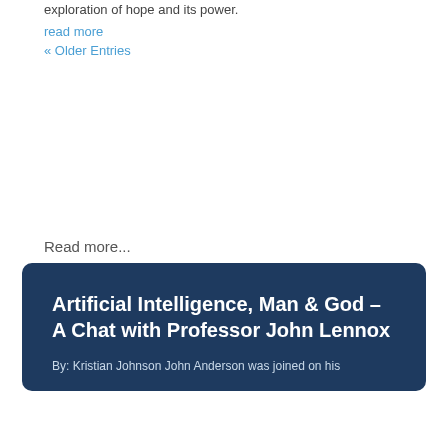exploration of hope and its power.
read more
« Older Entries
Read more...
Artificial Intelligence, Man & God – A Chat with Professor John Lennox
By: Kristian Johnson John Anderson was joined on his